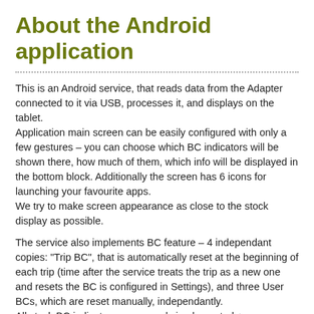About the Android application
This is an Android service, that reads data from the Adapter connected to it via USB, processes it, and displays on the tablet.
Application main screen can be easily configured with only a few gestures – you can choose which BC indicators will be shown there, how much of them, which info will be displayed in the bottom block. Additionally the screen has 6 icons for launching your favourite apps.
We try to make screen appearance as close to the stock display as possible.
The service also implements BC feature – 4 independant copies: "Trip BC", that is automatically reset at the beginning of each trip (time after the service treats the trip as a new one and resets the BC is configured in Settings), and three User BCs, which are reset manually, independantly.
All stock BC indicators are currenly implemented + some additional: